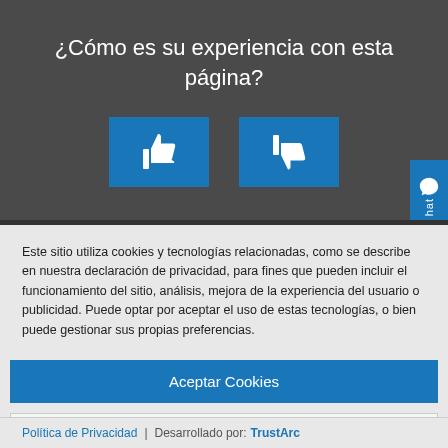¿Cómo es su experiencia con esta página?
[Figure (illustration): Two large blue square buttons side by side: a thumbs-up icon on the left and a thumbs-down icon on the right, on a dark gray background]
Este sitio utiliza cookies y tecnologías relacionadas, como se describe en nuestra declaración de privacidad, para fines que pueden incluir el funcionamiento del sitio, análisis, mejora de la experiencia del usuario o publicidad. Puede optar por aceptar el uso de estas tecnologías, o bien puede gestionar sus propias preferencias.
Aceptar Cookies
Más información
Política de Privacidad | Desarrollado por: TrustArc